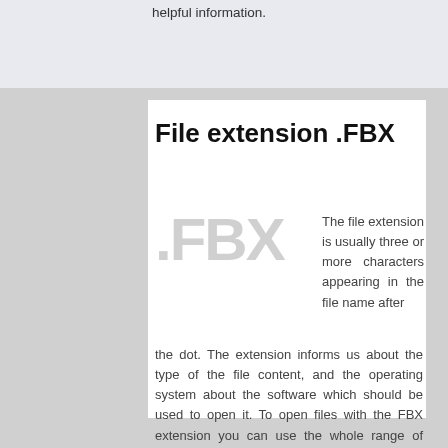helpful information.
File extension .FBX
The file extension is usually three or more characters appearing in the file name after the dot. The extension informs us about the type of the file content, and the operating system about the software which should be used to open it. To open files with the FBX extension you can use the whole range of available software. The list of the most important programs to open files with the FBX extension is shown below.